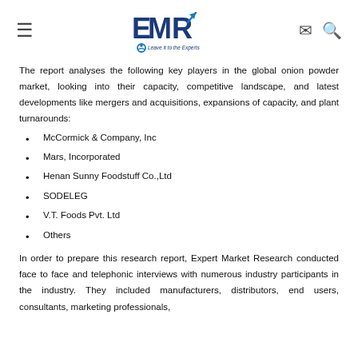EMR - Expert Market Research logo with menu, mail, and search icons
The report analyses the following key players in the global onion powder market, looking into their capacity, competitive landscape, and latest developments like mergers and acquisitions, expansions of capacity, and plant turnarounds:
McCormick & Company, Inc
Mars, Incorporated
Henan Sunny Foodstuff Co.,Ltd
SODELEG
V.T. Foods Pvt. Ltd
Others
In order to prepare this research report, Expert Market Research conducted face to face and telephonic interviews with numerous industry participants in the industry. They included manufacturers, distributors, end users, consultants, marketing professionals,